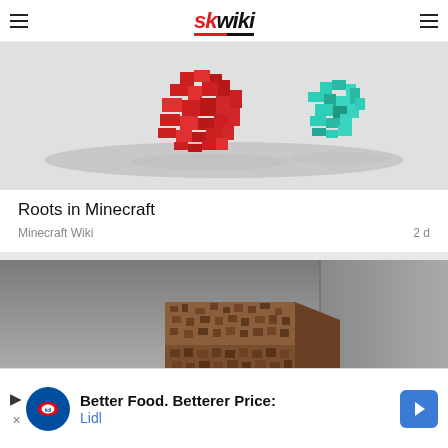skwiki
[Figure (screenshot): Minecraft Roots 3D model rendered against light gray background, showing red and teal/green pixel-art root structures floating above a flat surface]
Roots in Minecraft
Minecraft Wiki  2 d
[Figure (screenshot): Minecraft dirt block 3D render in a gray corner room environment, brown mosaic texture block centered in frame]
[Figure (screenshot): Lidl advertisement banner: Better Food. Betterer Price: Lidl]